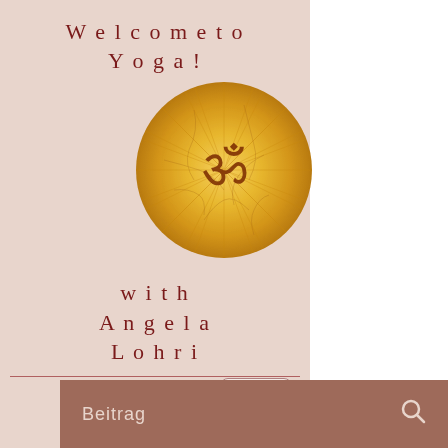Welcome to Yoga!
[Figure (illustration): Golden circular medallion with Om symbol (ॐ) in the center, radiating golden rays texture]
with Angela Lohri
[Figure (other): Hamburger menu button icon with three horizontal lines]
Beitrag